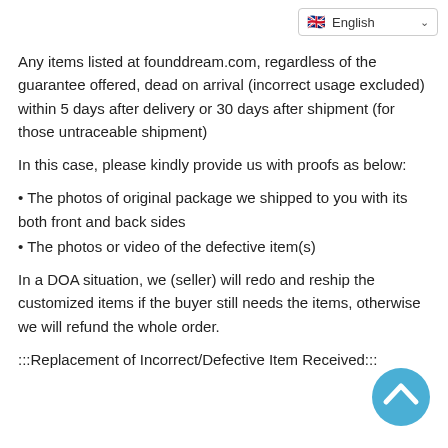English
Any items listed at founddream.com, regardless of the guarantee offered, dead on arrival (incorrect usage excluded) within 5 days after delivery or 30 days after shipment (for those untraceable shipment)
In this case, please kindly provide us with proofs as below:
• The photos of original package we shipped to you with its both front and back sides
• The photos or video of the defective item(s)
In a DOA situation, we (seller) will redo and reship the customized items if the buyer still needs the items, otherwise we will refund the whole order.
:::Replacement of Incorrect/Defective Item Received:::